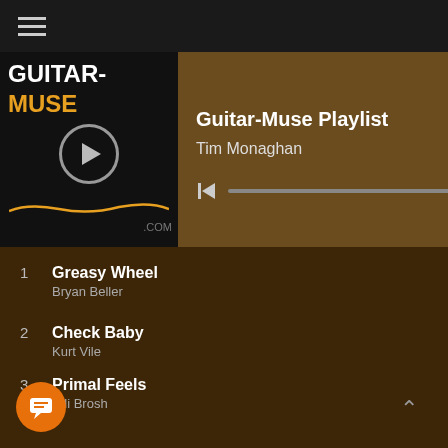[Figure (screenshot): Top navigation bar with hamburger menu icon on dark background]
[Figure (screenshot): Guitar-Muse Playlist player header with logo, title 'Guitar-Muse Playlist', author 'Tim Monaghan', Spotify icon, and playback controls on brown background]
1  Greasy Wheel  6:30
Bryan Beller
2  Check Baby  7:53
Kurt Vile
3  Primal Feels  4:46
Nili Brosh
4  Something Human  3:46
Muse
5  Mechanical Bull  2:41
Stella Donnelly
6  Here Comes The Sun - Remas...  3:05
The Beatles